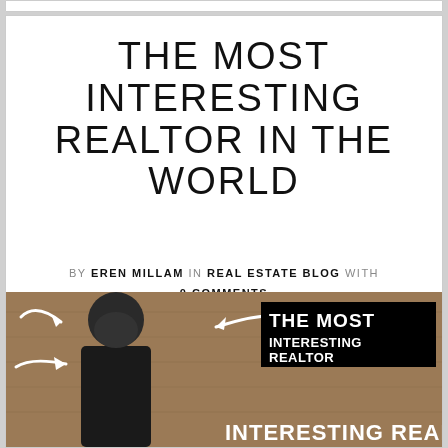THE MOST INTERESTING REALTOR IN THE WORLD
BY EREN MILLAM IN REAL ESTATE BLOG WITH 0 COMMENTS
[Figure (photo): Photo of a man with arrows pointing at him, with black overlay box reading 'THE MOST INTERESTING REALTOR' on a wood-paneled background]